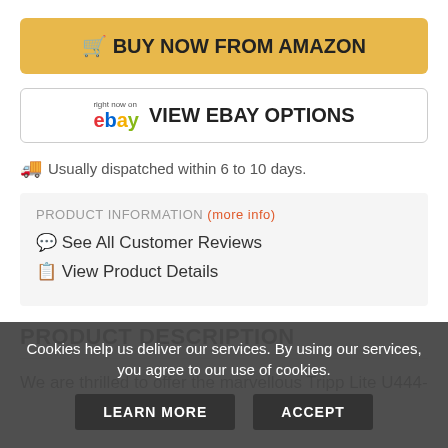🛒 BUY NOW FROM AMAZON
right now on ebay VIEW EBAY OPTIONS
🚚 Usually dispatched within 6 to 10 days.
PRODUCT INFORMATION (more info)
💬 See All Customer Reviews
📋 View Product Details
PRODUCT DESCRIPTION
We are thrilled to offer the marvellous Tripp Lite U444-
Cookies help us deliver our services. By using our services, you agree to our use of cookies.
LEARN MORE
ACCEPT